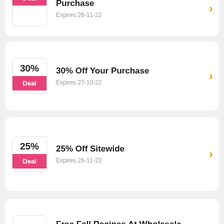Purchase — Expires 26-11-22 — Deal
30% Off Your Purchase — Expires 27-10-22 — Deal
25% Off Sitewide — Expires 26-11-22 — Deal
Free Fall Recipes At Wholesale Supplies Plus — Sales